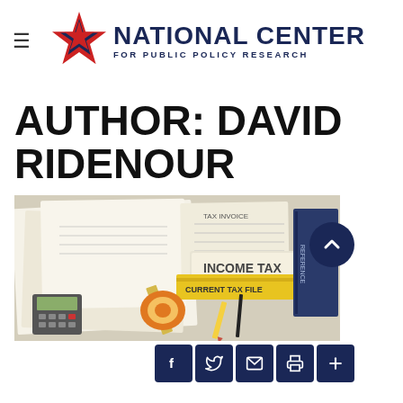National Center for Public Policy Research
AUTHOR: DAVID RIDENOUR
[Figure (photo): Photo of tax documents including income tax forms, tax file folders, calculator, pencil and tape dispenser on a desk, with social media icons (Facebook, Twitter, email, print, plus) along the bottom and a scroll-up arrow button.]